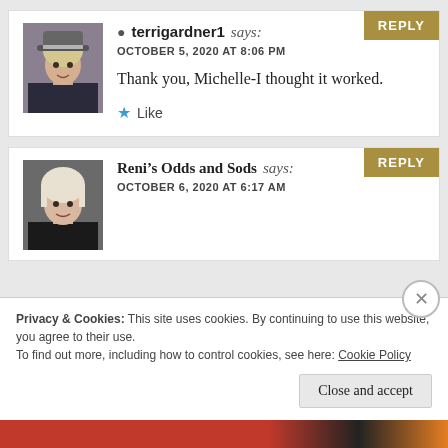terrigardner1 says:
OCTOBER 5, 2020 AT 8:06 PM
Thank you, Michelle-I thought it worked.
Like
Reni’s Odds and Sods says:
OCTOBER 6, 2020 AT 6:17 AM
Privacy & Cookies: This site uses cookies. By continuing to use this website, you agree to their use.
To find out more, including how to control cookies, see here: Cookie Policy
Close and accept